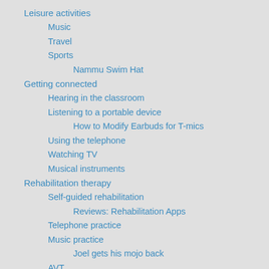Leisure activities
Music
Travel
Sports
Nammu Swim Hat
Getting connected
Hearing in the classroom
Listening to a portable device
How to Modify Earbuds for T-mics
Using the telephone
Watching TV
Musical instruments
Rehabilitation therapy
Self-guided rehabilitation
Reviews: Rehabilitation Apps
Telephone practice
Music practice
Joel gets his mojo back
AVT
Tips and tricks